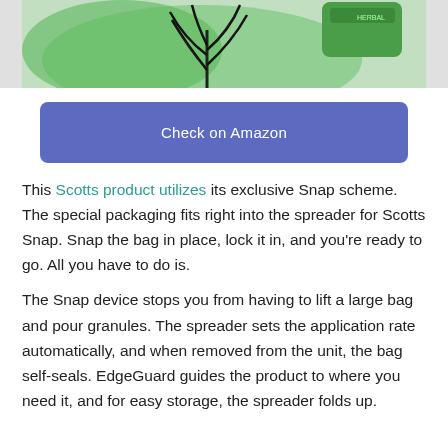[Figure (photo): Product photo showing green packaging with a plant illustration and a green container/jar in the upper right corner, against a light gray background.]
Check on Amazon
This Scotts product utilizes its exclusive Snap scheme. The special packaging fits right into the spreader for Scotts Snap. Snap the bag in place, lock it in, and you’re ready to go. All you have to do is.
The Snap device stops you from having to lift a large bag and pour granules. The spreader sets the application rate automatically, and when removed from the unit, the bag self-seals. EdgeGuard guides the product to where you need it, and for easy storage, the spreader folds up.